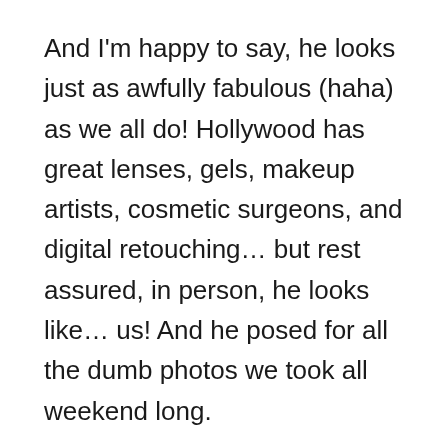And I'm happy to say, he looks just as awfully fabulous (haha) as we all do! Hollywood has great lenses, gels, makeup artists, cosmetic surgeons, and digital retouching… but rest assured, in person, he looks like… us! And he posed for all the dumb photos we took all weekend long.
Don't Drink
You will have a lot more fun and energy if you don't drink. You will remember things if you don't drink. There's too much going